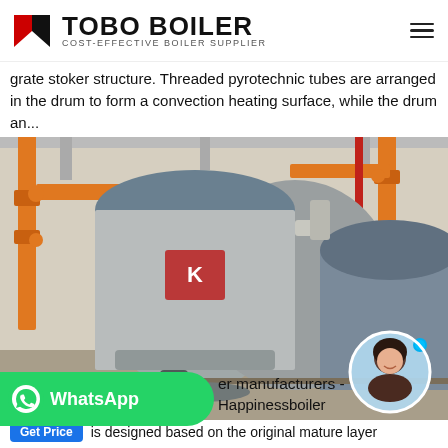TOBO BOILER — COST-EFFECTIVE BOILER SUPPLIER
grate stoker structure. Threaded pyrotechnic tubes are arranged in the drum to form a convection heating surface, while the drum an...
[Figure (photo): Industrial boiler room showing large silver/steel horizontal boilers with orange pipe fittings and support structures inside a factory building. A circular avatar of a woman is overlaid in the bottom-right corner.]
er manufacturers - Happinessboiler
is designed based on the original mature layer